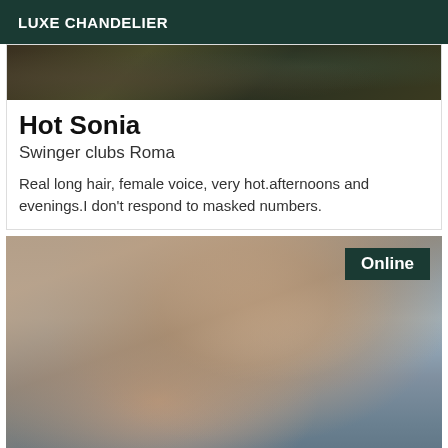LUXE CHANDELIER
[Figure (photo): Dark outdoor photo with foliage, partially visible at top of card]
Hot Sonia
Swinger clubs Roma
Real long hair, female voice, very hot.afternoons and evenings.I don't respond to masked numbers.
[Figure (photo): Young Asian woman with long dark hair, wearing a patterned bikini top, urban skyline in background, Online badge in top right]